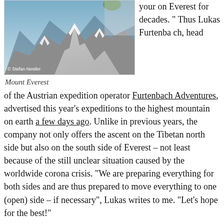[Figure (photo): Aerial/mountain photograph of Mount Everest, showing snow-covered peaks and ridges with a blue sky, credited to Stefan Nestler.]
Mount Everest
your on Everest for decades. " Thus Lukas Furtenbach, head of the Austrian expedition operator Furtenbach Adventures, advertised this year's expeditions to the highest mountain on earth a few days ago. Unlike in previous years, the company not only offers the ascent on the Tibetan north side but also on the south side of Everest – not least because of the still unclear situation caused by the worldwide corona crisis. “We are preparing everything for both sides and are thus prepared to move everything to one (open) side – if necessary”, Lukas writes to me. “Let’s hope for the best!”